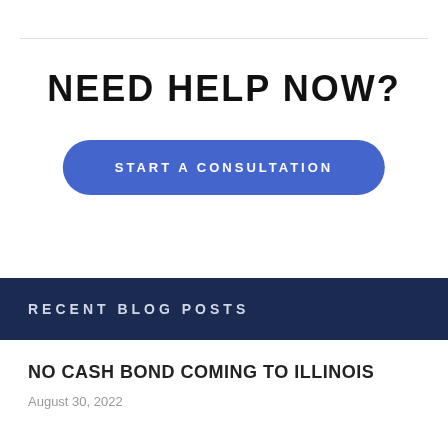NEED HELP NOW?
[Figure (other): Blue rounded button with text 'START A CONSULTATION']
RECENT BLOG POSTS
NO CASH BOND COMING TO ILLINOIS
August 30, 2022